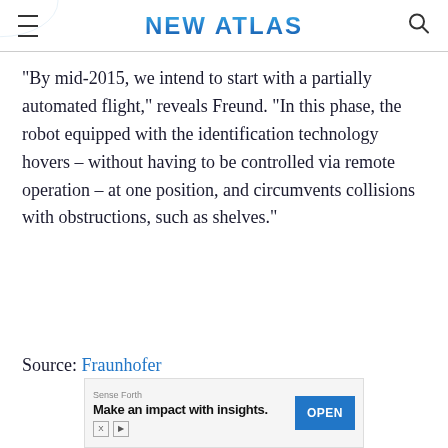NEW ATLAS
"By mid-2015, we intend to start with a partially automated flight," reveals Freund. "In this phase, the robot equipped with the identification technology hovers – without having to be controlled via remote operation – at one position, and circumvents collisions with obstructions, such as shelves."
Source: Fraunhofer
[Figure (other): Advertisement banner: Sense Forth – Make an impact with insights. OPEN button.]